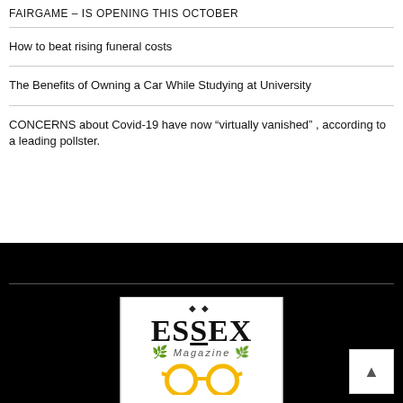FAIRGAME – IS OPENING THIS OCTOBER
How to beat rising funeral costs
The Benefits of Owning a Car While Studying at University
CONCERNS about Covid-19 have now “virtually vanished” , according to a leading pollster.
[Figure (logo): Essex Magazine logo with diamond decorations, bold ESSEX text, Magazine subtitle, and yellow glasses illustration with green and orange leaf accents]
Back to top button